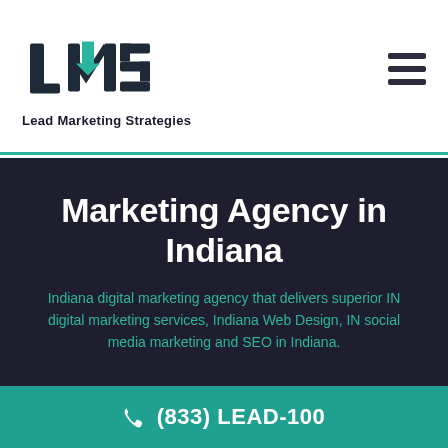[Figure (logo): LMS Lead Marketing Strategies logo with teal arrow and dark text]
Marketing Agency in Indiana
Indiana digital marketing agency that delivers superior IN digital marketing services, Indiana Web Design, IN social media marketing and SEO in Indiana.
(833) LEAD-100